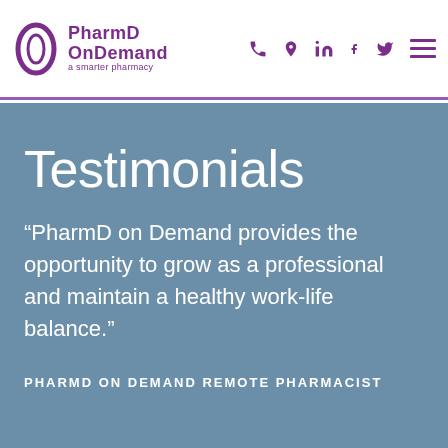[Figure (logo): PharmD OnDemand logo with purple oval/ring icon and text 'PharmD OnDemand a smarter pharmacy']
[Figure (infographic): Navigation icons: phone, location pin, LinkedIn, Facebook, Twitter, and hamburger menu in purple]
Testimonials
“PharmD on Demand provides the opportunity to grow as a professional and maintain a healthy work-life balance.”
PHARMD ON DEMAND REMOTE PHARMACIST